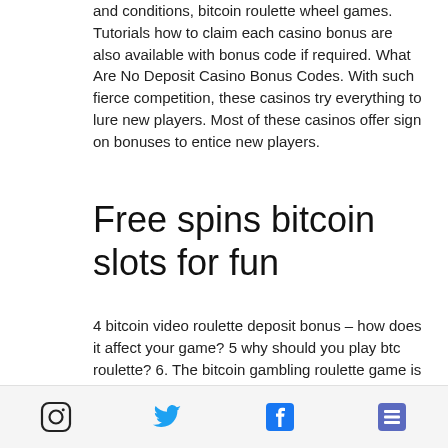and conditions, bitcoin roulette wheel games. Tutorials how to claim each casino bonus are also available with bonus code if required. What Are No Deposit Casino Bonus Codes. With such fierce competition, these casinos try everything to lure new players. Most of these casinos offer sign on bonuses to entice new players.
Free spins bitcoin slots for fun
4 bitcoin video roulette deposit bonus – how does it affect your game? 5 why should you play btc roulette? 6. The bitcoin gambling roulette game is among the most popular casino games. On this page, we will go over the new trend based on. Customer service is one of the most important factors when selecting an online bitcoin casino site
Social icons: Instagram, Twitter, Facebook, List